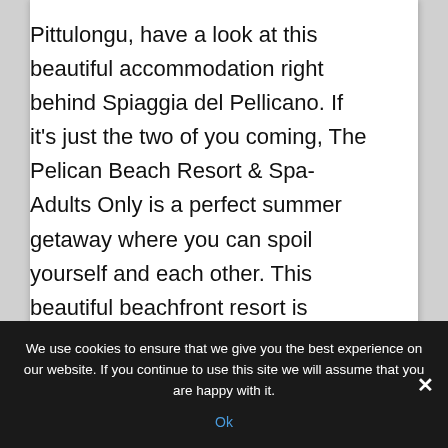Pittulongu, have a look at this beautiful accommodation right behind Spiaggia del Pellicano. If it's just the two of you coming, The Pelican Beach Resort & Spa-Adults Only is a perfect summer getaway where you can spoil yourself and each other. This beautiful beachfront resort is nestled between Olbia and Golfo Aranci and only a 15-minute ride away from Olbia Costa Smeralda Airport. The resort features two
buildings, a stunning treatment, and the
Resort, you'll find an outdoor pool, sunbathing area, and the outdoor fitness
We use cookies to ensure that we give you the best experience on our website. If you continue to use this site we will assume that you are happy with it.
Ok